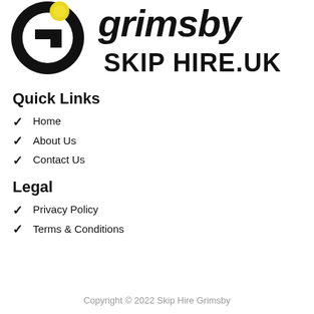[Figure (logo): Grimsby Skip Hire UK logo with large G letter and yellow element, bold italic text reading 'grimsby' and bold text 'SKIP HIRE.UK']
Quick Links
Home
About Us
Contact Us
Legal
Privacy Policy
Terms & Conditions
Copyright © 2022 Skip Hire Grimsby